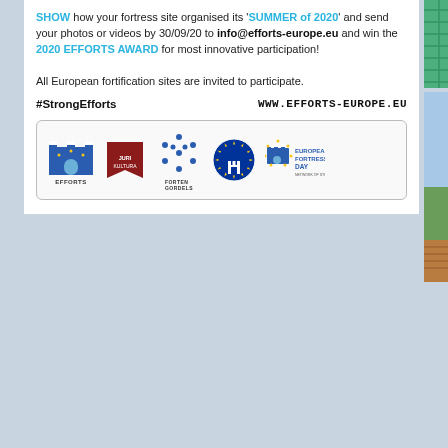SHOW how your fortress site organised its 'SUMMER of 2020' and send your photos or videos by 30/09/20 to info@efforts-europe.eu and win the 2020 EFFORTS AWARD for most innovative participation!

All European fortification sites are invited to participate.
#StrongEfforts    WWW.EFFORTS-EUROPE.EU
[Figure (photo): Photo of green netting/mesh on a fortress structure]
[Figure (photo): Photo of a person on a fortress terrace with a banner/towel showing EFFORTS logo]
[Figure (logo): Row of logos: EFFORTS (castle icon), red banner logo, Forten Gordels (people figures), EU stars circle, European Fortress Day]